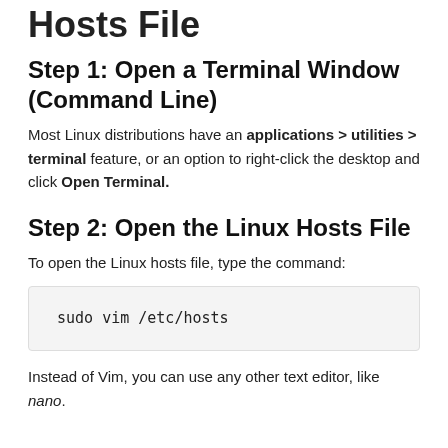Hosts File
Step 1: Open a Terminal Window (Command Line)
Most Linux distributions have an applications > utilities > terminal feature, or an option to right-click the desktop and click Open Terminal.
Step 2: Open the Linux Hosts File
To open the Linux hosts file, type the command:
sudo vim /etc/hosts
Instead of Vim, you can use any other text editor, like nano.